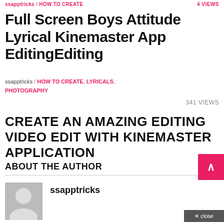ssapptricks / HOW TO CREATE   4 VIEWS
Full Screen Boys Attitude Lyrical Kinemaster App EditingEditing
ssapptricks / HOW TO CREATE, LYRICALS, PHOTOGRAPHY
341 VIEWS
CREATE AN AMAZING EDITING VIDEO EDIT WITH KINEMASTER APPLICATION
ABOUT THE AUTHOR
ssapptricks